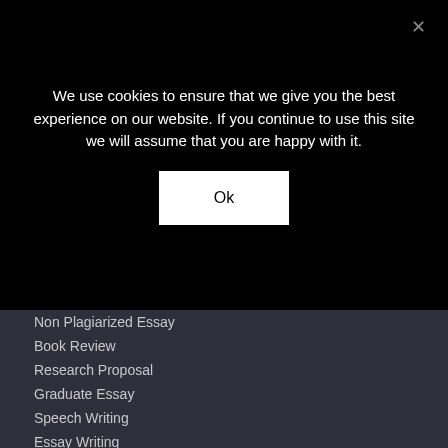We use cookies to ensure that we give you the best experience on our website. If you continue to use this site we will assume that you are happy with it.
Ok
Non Plagiarized Essay
Book Review
Research Proposal
Graduate Essay
Speech Writing
Essay Writing
Nursing online services
Nursing papers
Buy Nursing papers online
Write My Nursing paper
write my nursing homework
Legal
Terms and Condtions
Cookie Policy